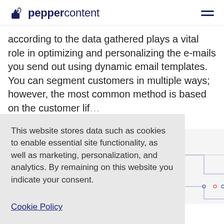peppercontent
according to the data gathered plays a vital role in optimizing and personalizing the e-mails you send out using dynamic email templates. You can segment customers in multiple ways; however, the most common method is based on the customer lif…
This website stores data such as cookies to enable essential site functionality, as well as marketing, personalization, and analytics. By remaining on this website you indicate your consent.
Cookie Policy